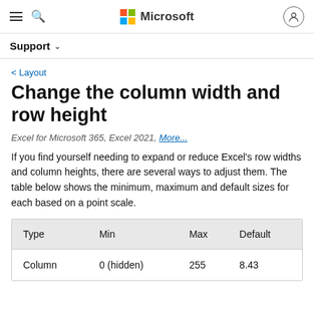Microsoft Support
< Layout
Change the column width and row height
Excel for Microsoft 365, Excel 2021, More...
If you find yourself needing to expand or reduce Excel's row widths and column heights, there are several ways to adjust them. The table below shows the minimum, maximum and default sizes for each based on a point scale.
| Type | Min | Max | Default |
| --- | --- | --- | --- |
| Column | 0 (hidden) | 255 | 8.43 |